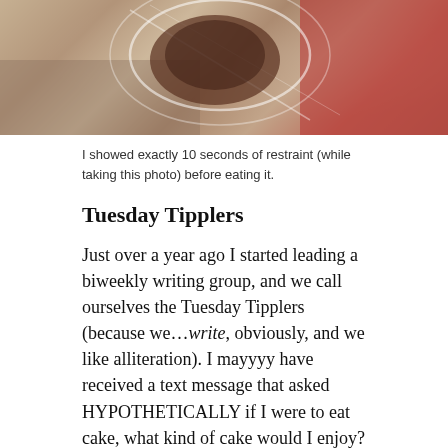[Figure (photo): Close-up photo of food item (likely cake or pastry) with colorful background, partially wrapped]
I showed exactly 10 seconds of restraint (while taking this photo) before eating it.
Tuesday Tipplers
Just over a year ago I started leading a biweekly writing group, and we call ourselves the Tuesday Tipplers (because we…write, obviously, and we like alliteration). I mayyyy have received a text message that asked HYPOTHETICALLY if I were to eat cake, what kind of cake would I enjoy? so I had my suspicions they might do something.
Not only did we discuss my piece that night (over which they were super gracious and kind), but they also prepared a feast! Spanikopta (GREEK FOOD), chorizo and raspberries, chocolate...